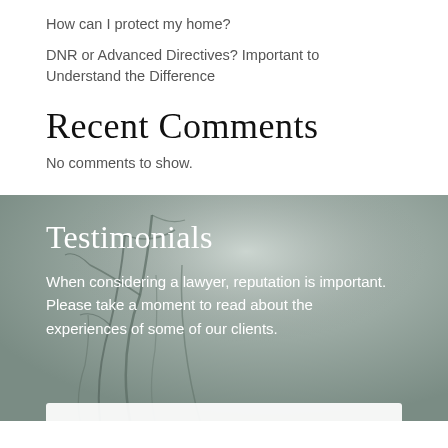How can I protect my home?
DNR or Advanced Directives? Important to Understand the Difference
Recent Comments
No comments to show.
Testimonials
When considering a lawyer, reputation is important. Please take a moment to read about the experiences of some of our clients.